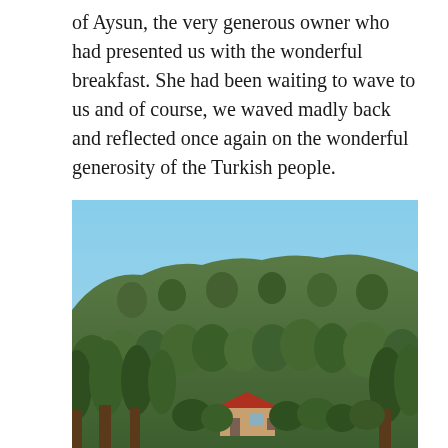of Aysun, the very generous owner who had presented us with the wonderful breakfast. She had been waiting to wave to us and of course, we waved madly back and reflected once again on the wonderful generosity of the Turkish people.
[Figure (photo): Outdoor landscape photograph showing a wooded hillside covered in dense green trees and shrubs under a clear blue sky. A small building or house is visible at the base of the hill among the trees.]